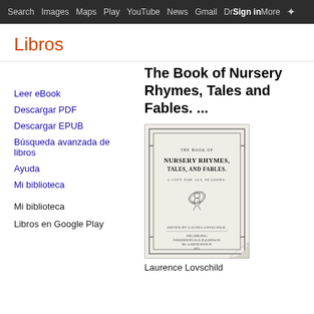Search  Images  Maps  Play  YouTube  News  Gmail  Drive  More  Sign in  [settings]
Libros
Leer eBook
Descargar PDF
Descargar EPUB
Búsqueda avanzada de libros
Ayuda
Mi biblioteca
Mi biblioteca
Libros en Google Play
The Book of Nursery Rhymes, Tales and Fables. ...
[Figure (photo): Book cover of 'The Book of Nursery Rhymes, Tales and Fables' showing title text and a small illustration of a fairy/angel figure, with publisher information at the bottom. A page-curl effect is visible at the lower right corner.]
Laurence Lovschild